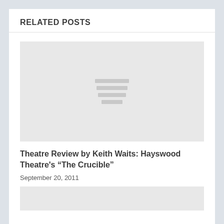RELATED POSTS
[Figure (illustration): Gray placeholder image with four horizontal lines icon in the center]
Theatre Review by Keith Waits: Hayswood Theatre's “The Crucible”
September 20, 2011
[Figure (illustration): Gray placeholder image block partially visible at bottom]